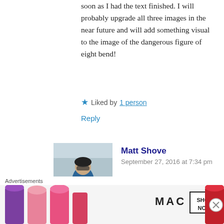soon as I had the text finished. I will probably upgrade all three images in the near future and will add something visual to the image of the dangerous figure of eight bend!
★ Liked by 1 person
Reply
[Figure (photo): Avatar photo of Matt Shove, a person in blue jacket outdoors in snowy setting]
Matt Shove
September 27, 2016 at 7:34 pm
That's exactly what I was going to ask you to do. I
Advertisements
[Figure (photo): MAC Cosmetics advertisement showing lipsticks in purple, pink, and red with MAC logo and SHOP NOW button]